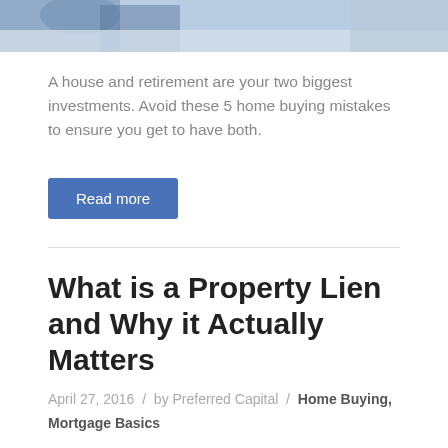[Figure (photo): Photo of people (partially visible at top of page), appears to be a couple with moving boxes]
A house and retirement are your two biggest investments. Avoid these 5 home buying mistakes to ensure you get to have both.
Read more
What is a Property Lien and Why it Actually Matters
April 27, 2016 / by Preferred Capital / Home Buying, Mortgage Basics
[Figure (photo): Image of a gavel and a house model, representing property lien concept]